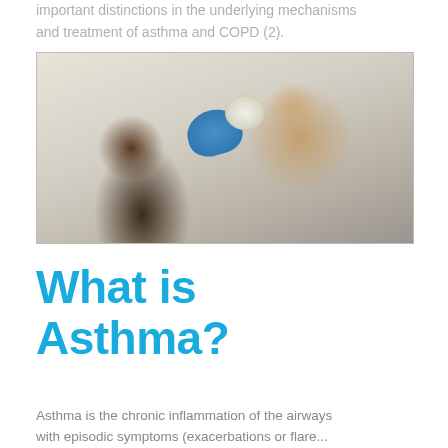important distinctions in the underlying mechanisms and treatment of asthma and COPD (2).
[Figure (photo): A healthcare provider wearing blue gloves holds a nebulizer or inhaler mask over the face of a child with glasses wearing a plaid shirt, in a clinical setting.]
What is Asthma?
Asthma is the chronic inflammation of the airways with episodic symptoms (exacerbations or flare...